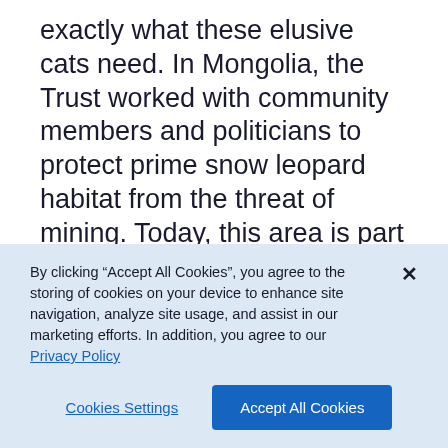exactly what these elusive cats need. In Mongolia, the Trust worked with community members and politicians to protect prime snow leopard habitat from the threat of mining. Today, this area is part of a national nature reserve. And across the snow leopard range, the Snow Leopard Trust has created incentives for herders to protect local wildlife and ecosystems while also strengthening wildlife enforcement
By clicking “Accept All Cookies”, you agree to the storing of cookies on your device to enhance site navigation, analyze site usage, and assist in our marketing efforts. In addition, you agree to our Privacy Policy
Cookies Settings
Accept All Cookies